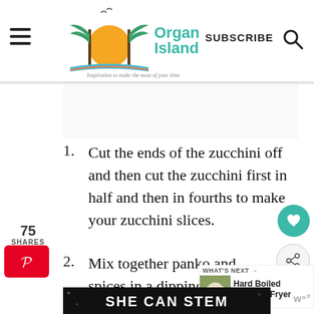Organized Island — Inspiration to make the most of your time | SUBSCRIBE
75 SHARES
1. Cut the ends of the zucchini off and then cut the zucchini first in half and then in fourths to make your zucchini slices.
2. Mix together panko and spices in a dipping plate. In another dipping plate, beat the two eggs.
[Figure (other): WHAT'S NEXT → Hard Boiled Eggs Air Fryer promotional widget with food image]
[Figure (other): SHE CAN STEM advertisement banner in dark background]